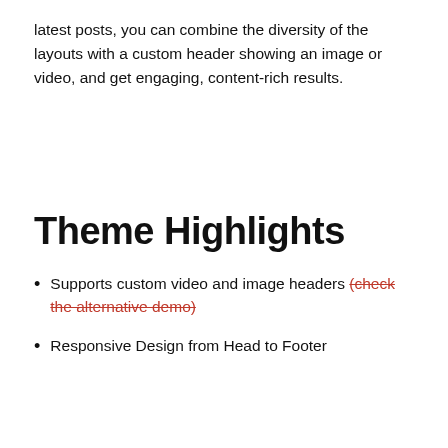latest posts, you can combine the diversity of the layouts with a custom header showing an image or video, and get engaging, content-rich results.
Theme Highlights
Supports custom video and image headers (check the alternative demo)
Responsive Design from Head to Footer